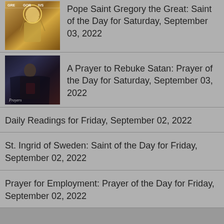[Figure (illustration): Religious icon image of Pope Saint Gregory, gold and ornate style]
Pope Saint Gregory the Great: Saint of the Day for Saturday, September 03, 2022
[Figure (illustration): Dark religious painting of a praying figure, labeled Prayers]
A Prayer to Rebuke Satan: Prayer of the Day for Saturday, September 03, 2022
Daily Readings for Friday, September 02, 2022
St. Ingrid of Sweden: Saint of the Day for Friday, September 02, 2022
Prayer for Employment: Prayer of the Day for Friday, September 02, 2022